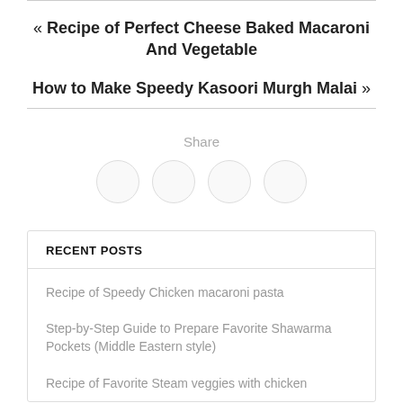« Recipe of Perfect Cheese Baked Macaroni And Vegetable
How to Make Speedy Kasoori Murgh Malai »
Share
[Figure (other): Four circular share button icons in a row]
RECENT POSTS
Recipe of Speedy Chicken macaroni pasta
Step-by-Step Guide to Prepare Favorite Shawarma Pockets (Middle Eastern style)
Recipe of Favorite Steam veggies with chicken